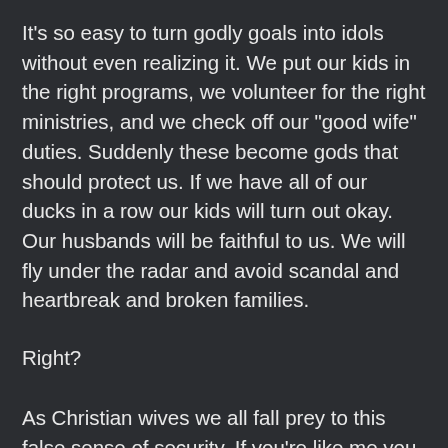It’s so easy to turn godly goals into idols without even realizing it. We put our kids in the right programs, we volunteer for the right ministries, and we check off our “good wife” duties. Suddenly these become gods that should protect us. If we have all of our ducks in a row our kids will turn out okay. Our husbands will be faithful to us. We will fly under the radar and avoid scandal and heartbreak and broken families.
Right?
As Christian wives we all fall prey to this false sense of security. If you’re like me you cringed when you saw the rug pulled out from under Anna because you